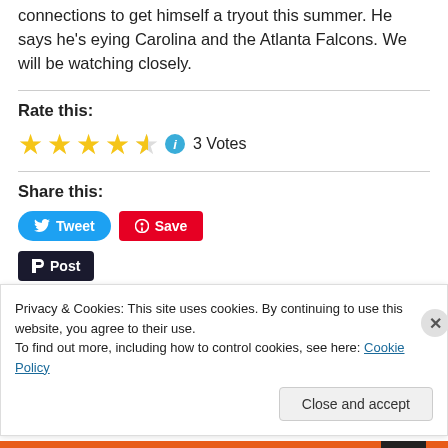connections to get himself a tryout this summer. He says he's eying Carolina and the Atlanta Falcons. We will be watching closely.
Rate this:
[Figure (other): 4.5 star rating with info icon and 3 Votes text]
Share this:
[Figure (other): Tweet button (Twitter/X), Save button (Pinterest), Post button (Tumblr)]
Privacy & Cookies: This site uses cookies. By continuing to use this website, you agree to their use. To find out more, including how to control cookies, see here: Cookie Policy
Close and accept